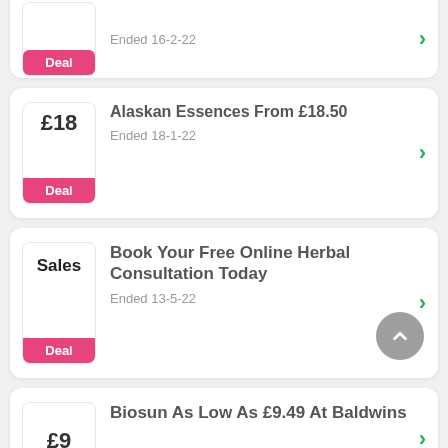Deal — Ended 16-2-22
Alaskan Essences From £18.50 — Ended 18-1-22
Book Your Free Online Herbal Consultation Today — Ended 13-5-22
Biosun As Low As £9.49 At Baldwins